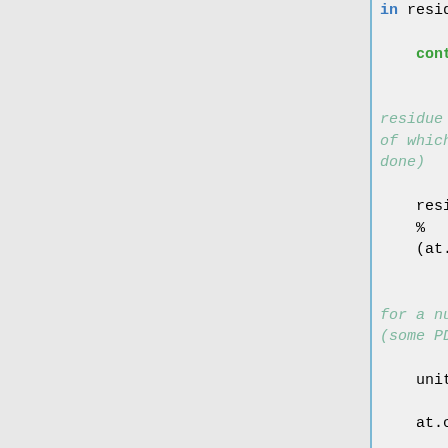in residues:

    continue

                    # Add to residue list (keep track of which ones we've done)

    residues.append("%s:%s:%s" % (at.chain,at.resn,at.resi))

                    # Check for a null chain id (some PDBs contain this)

    unit_select = ""
                        if not at.chain == "":

    unit_select = "chain "+str(at.chain)+" and "